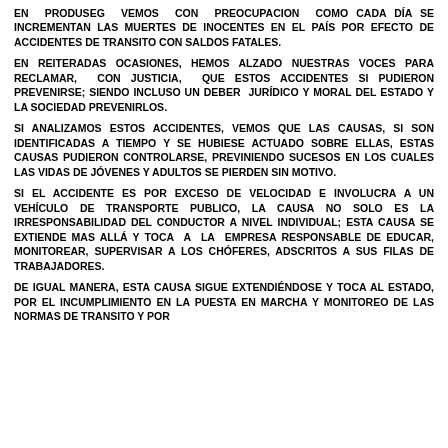EN PRODUSEG VEMOS CON PREOCUPACION COMO CADA DÍA SE INCREMENTAN LAS MUERTES DE INOCENTES EN EL PAÍS POR EFECTO DE ACCIDENTES DE TRANSITO CON SALDOS FATALES.
EN REITERADAS OCASIONES, HEMOS ALZADO NUESTRAS VOCES PARA RECLAMAR, CON JUSTICIA, QUE ESTOS ACCIDENTES SI PUDIERON PREVENIRSE; SIENDO INCLUSO UN DEBER JURÍDICO Y MORAL DEL ESTADO Y LA SOCIEDAD PREVENIRLOS.
SI ANALIZAMOS ESTOS ACCIDENTES, VEMOS QUE LAS CAUSAS, SI SON IDENTIFICADAS A TIEMPO Y SE HUBIESE ACTUADO SOBRE ELLAS, ESTAS CAUSAS PUDIERON CONTROLARSE, PREVINIENDO SUCESOS EN LOS CUALES LAS VIDAS DE JÓVENES Y ADULTOS SE PIERDEN SIN MOTIVO.
SI EL ACCIDENTE ES POR EXCESO DE VELOCIDAD E INVOLUCRA A UN VEHÍCULO DE TRANSPORTE PUBLICO, LA CAUSA NO SOLO ES LA IRRESPONSABILIDAD DEL CONDUCTOR A NIVEL INDIVIDUAL; ESTA CAUSA SE EXTIENDE MAS ALLÁ Y TOCA A LA EMPRESA RESPONSABLE DE EDUCAR, MONITOREAR, SUPERVISAR A LOS CHÓFERES, ADSCRITOS A SUS FILAS DE TRABAJADORES.
DE IGUAL MANERA, ESTA CAUSA SIGUE EXTENDIÉNDOSE Y TOCA AL ESTADO, POR EL INCUMPLIMIENTO EN LA PUESTA EN MARCHA Y MONITOREO DE LAS NORMAS DE TRANSITO Y POR